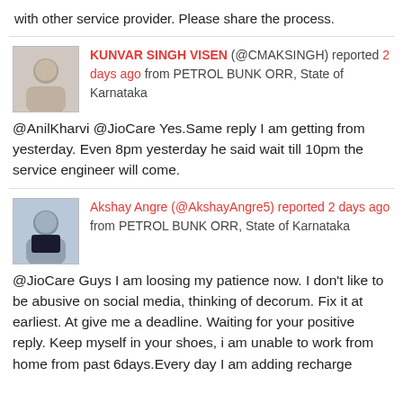with other service provider. Please share the process.
KUNVAR SINGH VISEN (@CMAKSINGH) reported 2 days ago from PETROL BUNK ORR, State of Karnataka
@AnilKharvi @JioCare Yes.Same reply I am getting from yesterday. Even 8pm yesterday he said wait till 10pm the service engineer will come.
Akshay Angre (@AkshayAngre5) reported 2 days ago from PETROL BUNK ORR, State of Karnataka @JioCare Guys I am loosing my patience now. I don't like to be abusive on social media, thinking of decorum. Fix it at earliest. At give me a deadline. Waiting for your positive reply. Keep myself in your shoes, i am unable to work from home from past 6days.Every day I am adding recharge